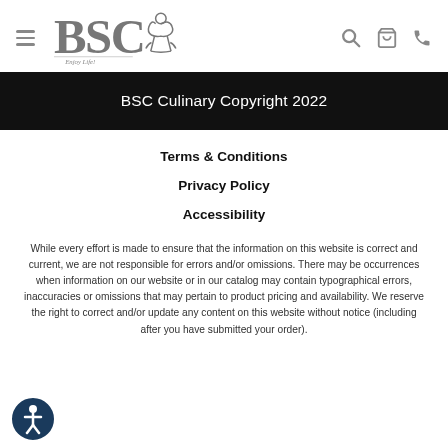BSC Culinary — navigation header with logo, hamburger menu, search, cart, and phone icons
BSC Culinary Copyright 2022
Terms & Conditions
Privacy Policy
Accessibility
While every effort is made to ensure that the information on this website is correct and current, we are not responsible for errors and/or omissions. There may be occurrences when information on our website or in our catalog may contain typographical errors, inaccuracies or omissions that may pertain to product pricing and availability. We reserve the right to correct and/or update any content on this website without notice (including after you have submitted your order).